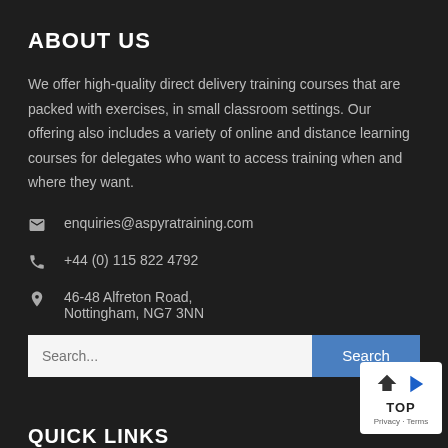ABOUT US
We offer high-quality direct delivery training courses that are packed with exercises, in small classroom settings. Our offering also includes a variety of online and distance learning courses for delegates who want to access training when and where they want.
enquiries@aspyratraining.com
+44 (0) 115 822 4792
46-48 Alfreton Road, Nottingham, NG7 3NN
Search...
QUICK LINKS